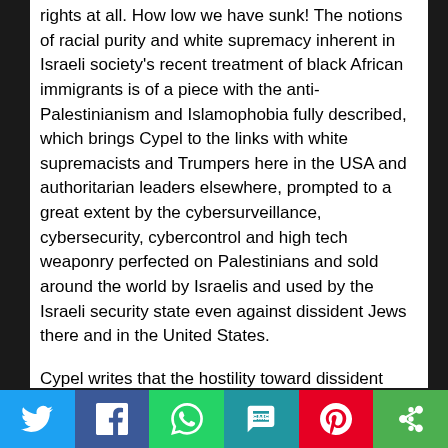rights at all. How low we have sunk! The notions of racial purity and white supremacy inherent in Israeli society's recent treatment of black African immigrants is of a piece with the anti-Palestinianism and Islamophobia fully described, which brings Cypel to the links with white supremacists and Trumpers here in the USA and authoritarian leaders elsewhere, prompted to a great extent by the cybersurveillance, cybersecurity, cybercontrol and high tech weaponry perfected on Palestinians and sold around the world by Israelis and used by the Israeli security state even against dissident Jews there and in the United States.

Cypel writes that the hostility toward dissident thinkers has increased among Israeli Jews to the
[Figure (infographic): Social media share bar with Twitter, Facebook, WhatsApp, SMS, Pinterest, and More buttons]